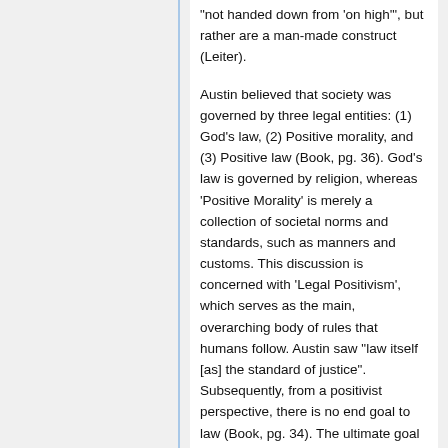"not handed down from 'on high'", but rather are a man-made construct (Leiter).
Austin believed that society was governed by three legal entities: (1) God's law, (2) Positive morality, and (3) Positive law (Book, pg. 36). God's law is governed by religion, whereas 'Positive Morality' is merely a collection of societal norms and standards, such as manners and customs. This discussion is concerned with 'Legal Positivism', which serves as the main, overarching body of rules that humans follow. Austin saw "law itself [as] the standard of justice". Subsequently, from a positivist perspective, there is no end goal to law (Book, pg. 34). The ultimate goal is the full obedience of subjects. The submission to the Sovereign and its laws